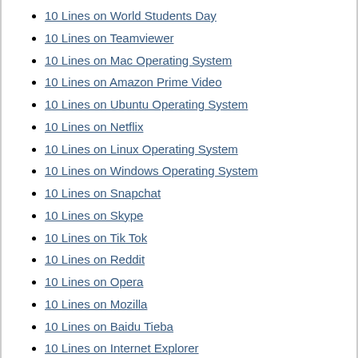10 Lines on World Students Day
10 Lines on Teamviewer
10 Lines on Mac Operating System
10 Lines on Amazon Prime Video
10 Lines on Ubuntu Operating System
10 Lines on Netflix
10 Lines on Linux Operating System
10 Lines on Windows Operating System
10 Lines on Snapchat
10 Lines on Skype
10 Lines on Tik Tok
10 Lines on Reddit
10 Lines on Opera
10 Lines on Mozilla
10 Lines on Baidu Tieba
10 Lines on Internet Explorer
10 Lines on Alexa
10 Lines on Google Plus
10 Lines on Yahoo
10 Lines on Google